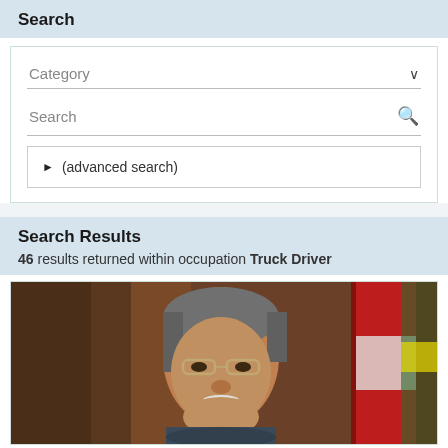Search
Category
Search
(advanced search)
Search Results
46 results returned within occupation Truck Driver
[Figure (photo): Portrait photograph of an elderly man with glasses, gray hair, and a white mustache, photographed in front of flags including a red flag and a green/yellow flag]